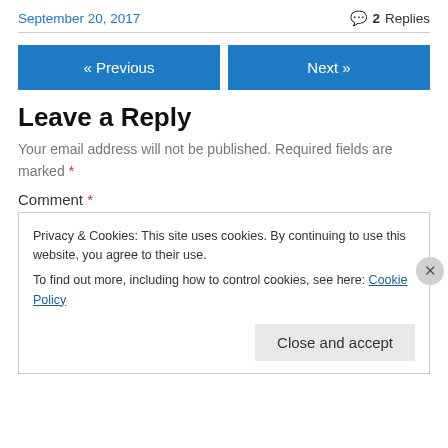September 20, 2017   2 Replies
« Previous   Next »
Leave a Reply
Your email address will not be published. Required fields are marked *
Comment *
Privacy & Cookies: This site uses cookies. By continuing to use this website, you agree to their use.
To find out more, including how to control cookies, see here: Cookie Policy
Close and accept